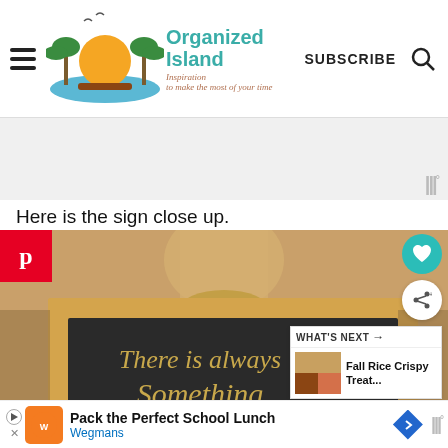Organized Island — Inspiration to make the most of your time | SUBSCRIBE
[Figure (screenshot): Gray advertisement placeholder area with Mediavine logo icon (three vertical bars and degree symbol) in bottom right]
Here is the sign close up.
[Figure (photo): Close-up photo of a wooden-framed chalkboard sign reading 'There is always Something' in cursive golden/yellow text. A metallic trophy or vase is visible behind the frame. Pinterest share button on left, heart and share FABs on right, 'WHAT'S NEXT → Fall Rice Crispy Treat...' overlay in lower right corner.]
[Figure (screenshot): Bottom advertisement bar: Wegmans ad 'Pack the Perfect School Lunch' with orange logo, blue diamond navigation arrow, and Mediavine icon on the right]